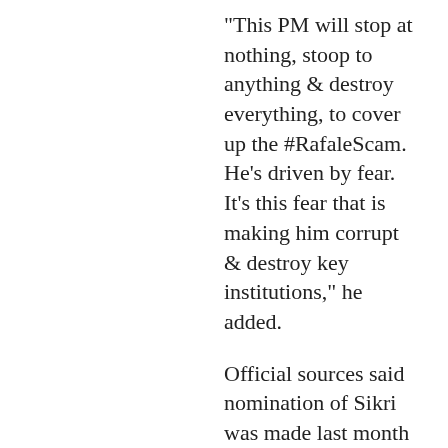"This PM will stop at nothing, stoop to anything & destroy everything, to cover up the #RafaleScam. He's driven by fear. It's this fear that is making him corrupt & destroy key institutions," he added.
Official sources said nomination of Sikri was made last month following an internal process carried out by the Law Ministry.
The External Affairs Ministry communicated to the CSAT about India's nomination, the sources...